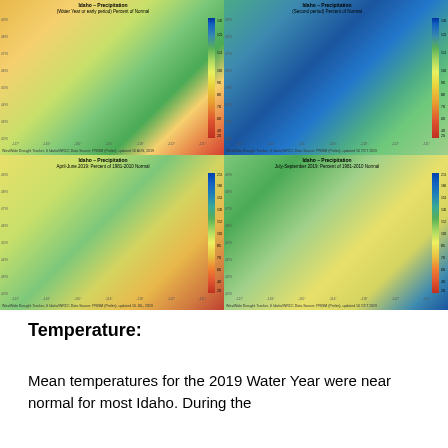[Figure (map): Four Idaho precipitation maps showing percent of normal: top-left (water year or early period), top-right (second period), bottom-left (April-June 2019, percent of 1981-2010 normal), bottom-right (July-September 2019, percent of 1981-2010 normal). Color scale from red/orange (dry, <40%) to blue/dark blue (wet, >210%). WestWide Drought Tracker, U Idaho/WRCC data source.]
Temperature:
Mean temperatures for the 2019 Water Year were near normal for most Idaho. During the